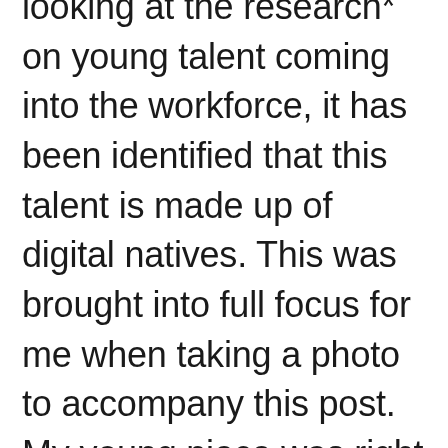looking at the research* on young talent coming into the workforce, it has been identified that this talent is made up of digital natives. This was brought into full focus for me when taking a photo to accompany this post. My young niece was right there, designing Social Media worthy pictures for me; I'll leave it up to you to decide if she achieved it (to be fair to her, I wasn't the best model)! But it